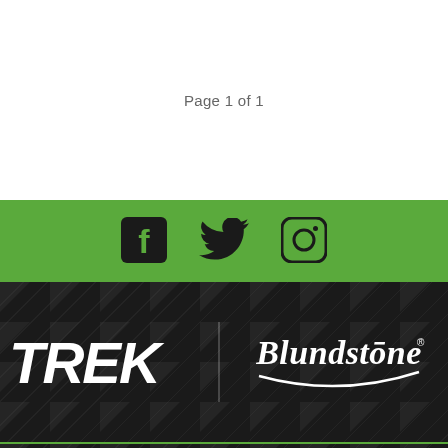Page 1 of 1
[Figure (infographic): Green bar with Facebook, Twitter, and Instagram social media icons in black]
[Figure (logo): Dark patterned banner showing Trek logo in white italic and Blundstone logo in white cursive script on black background with triangle pattern]
[Figure (infographic): Dark patterned section with partial mountain/sunrise graphic in orange and green at bottom center, and a green back-to-top button with up arrow chevron at bottom right]